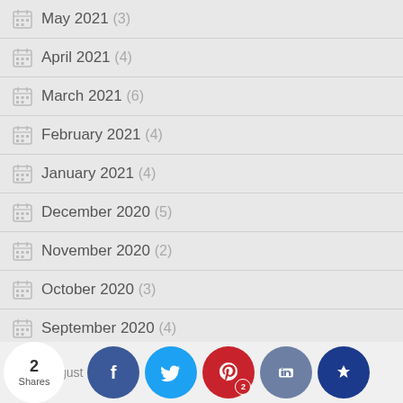May 2021 (3)
April 2021 (4)
March 2021 (6)
February 2021 (4)
January 2021 (4)
December 2020 (5)
November 2020 (2)
October 2020 (3)
September 2020 (4)